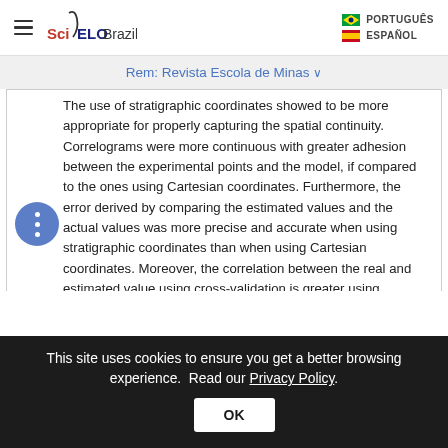SciELO Brazil | PORTUGUÊS | ESPAÑOL
Rem: Revista Escola de Minas
The use of stratigraphic coordinates showed to be more appropriate for properly capturing the spatial continuity. Correlograms were more continuous with greater adhesion between the experimental points and the model, if compared to the ones using Cartesian coordinates. Furthermore, the error derived by comparing the estimated values and the actual values was more precise and accurate when using stratigraphic coordinates than when using Cartesian coordinates. Moreover, the correlation between the real and estimated value using cross-validation is greater using stratigraphic
This site uses cookies to ensure you get a better browsing experience. Read our Privacy Policy.